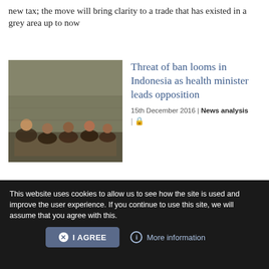new tax; the move will bring clarity to a trade that has existed in a grey area up to now
[Figure (photo): Group of people sitting together indoors in what appears to be a rustic setting]
Threat of ban looms in Indonesia as health minister leads opposition
15th December 2016 | News analysis
E-cigarettes could be banned entirely in Indonesia if the health minister has her way – and she has some powerful support in a nation which has the third highest prevalence of smoking in the world.
This website uses cookies to allow us to see how the site is used and improve the user experience. If you continue to use this site, we will assume that you agree with this.